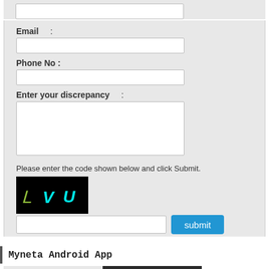Email :
Phone No :
Enter your discrepancy :
Please enter the code shown below and click Submit.
[Figure (other): CAPTCHA image with dark background showing characters 'L VU' in cyan/white handwritten style]
Myneta Android App
[Figure (screenshot): Myneta Android App banner showing Myneta.info logo with Indian flag, Android robot mascot, and text showing Lok Sabha, Assam, Bihar]